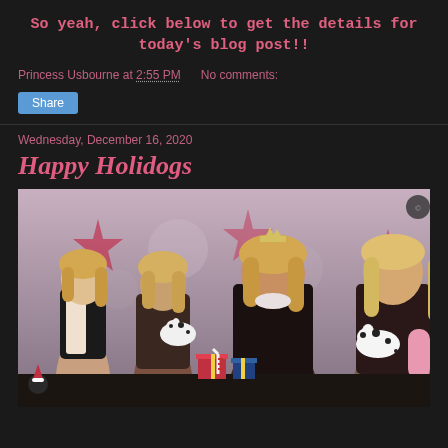So yeah, click below to get the details for today's blog post!!
Princess Usbourne at 2:55 PM   No comments:
Share
Wednesday, December 16, 2020
Happy Holidogs
[Figure (illustration): Digital illustration of four glamorous blonde female characters in holiday setting, some holding dalmatian puppies, with Christmas decorations in background including red stars and wrapped gifts]